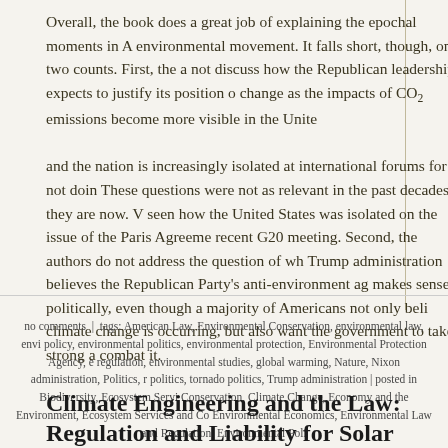Overall, the book does a great job of explaining the epochal moments in A environmental movement. It falls short, though, on two counts. First, the a not discuss how the Republican leadership expects to justify its position o change as the impacts of CO2 emissions become more visible in the Unite and the nation is increasingly isolated at international forums for not doin These questions were not as relevant in the past decades as they are now. seen how the United States was isolated on the issue of the Paris Agreeme recent G20 meeting. Second, the authors do not address the question of wh Trump administration believes the Republican Party's anti-environment ag makes sense politically, even though a majority of Americans not only beli climate change is occurring, but also want the government to take strong a combat it.
no comments | tags: American Law, Environmental Conservation, environmental law, envi policy, environmental politics, environmental protection, Environmental Protection Agency, e regulation, environmental studies, global warming, Nature, Nixon administration, Politics, politics, tornado politics, Trump administration | posted in Biodiversity, Ecosystem Servi Conservation, Climate Change, Economy and the Environment, Ecosystem Services and Co Environmental Economics, Environmental Law and Regulation, Environmental Poli
Climate Engineering and the Law: Regulation and Liability for Solar